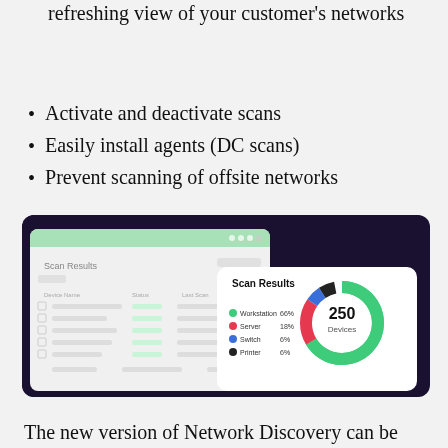Enjoy an always current, automatically refreshing view of your customer's networks
Activate and deactivate scans
Easily install agents (DC scans)
Prevent scanning of offsite networks
[Figure (screenshot): Screenshot of a network scan results dashboard showing a table with device list on the left, and a Scan Results card on the right with a donut chart showing 250 Devices total: Workstation 66%, Server 18%, Switch 6%, Printer 6%]
The new version of Network Discovery can be